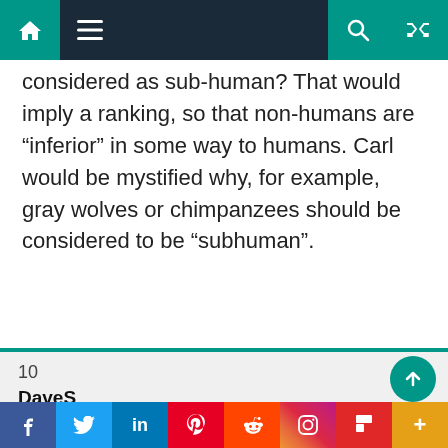[Navigation bar with home, menu, search, and shuffle icons]
considered as sub-human? That would imply a ranking, so that non-humans are “inferior” in some way to humans. Carl would be mystified why, for example, gray wolves or chimpanzees should be considered to be “subhuman”.
10
DaveS
asauber,
February 14, 2019 at 11:14 am
Can you explain why Carl believes that humans arose through unguided evolution?
Social share bar: Facebook, Twitter, LinkedIn, Pinterest, Reddit, Instagram, Flipboard, More